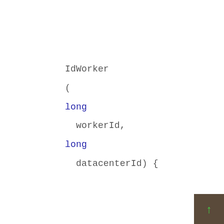IdWorker
(
long
  workerId,
long
  datacenterId) {
[Figure (other): Scroll-to-top button in bottom-right corner, dark brown background with green upward arrow]